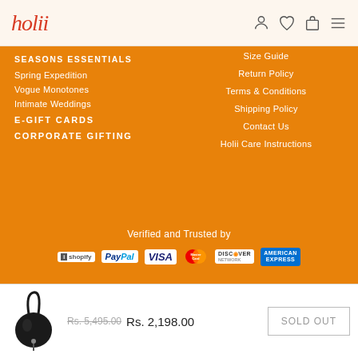holii
SEASONS ESSENTIALS
Spring Expedition
Vogue Monotones
Intimate Weddings
E-GIFT CARDS
CORPORATE GIFTING
Size Guide
Return Policy
Terms & Conditions
Shipping Policy
Contact Us
Holii Care Instructions
Verified and Trusted by
[Figure (logo): Payment provider logos: Shopify, PayPal, VISA, MasterCard, Discover Network, American Express]
Rs. 5,495.00  Rs. 2,198.00
SOLD OUT